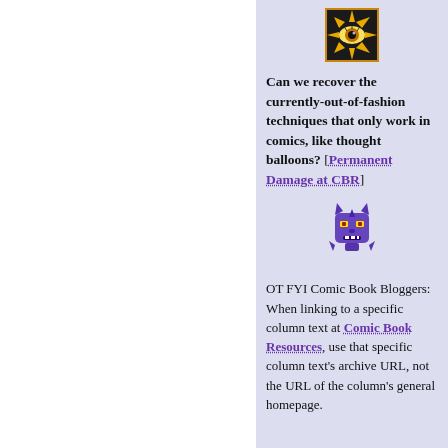[Figure (illustration): Small square icon with golden/yellow sunburst border and a stylized eye in the center, on dark background]
Can we recover the currently-out-of-fashion techniques that only work in comics, like thought balloons? [Permanent Damage at CBR]
[Figure (illustration): Small pixel-art style purple villain/demon face icon]
OT FYI Comic Book Bloggers: When linking to a specific column text at Comic Book Resources, use that specific column text's archive URL, not the URL of the column's general homepage.